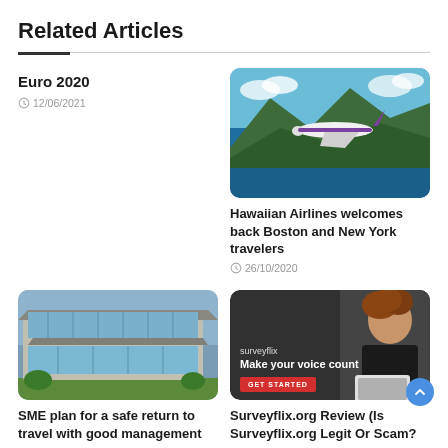Related Articles
[Figure (photo): Hawaiian Airlines plane flying over tropical island coastline with mountains]
Euro 2020
12/06/2021
Hawaiian Airlines welcomes back Boston and New York travelers
26/10/2020
[Figure (photo): Modern commercial building with glass facade]
[Figure (screenshot): Surveyflix ad: Make your voice count, GET STARTED button]
SME plan for a safe return to travel with good management
Surveyflix.org Review (Is Surveyflix.org Legit Or Scam?)